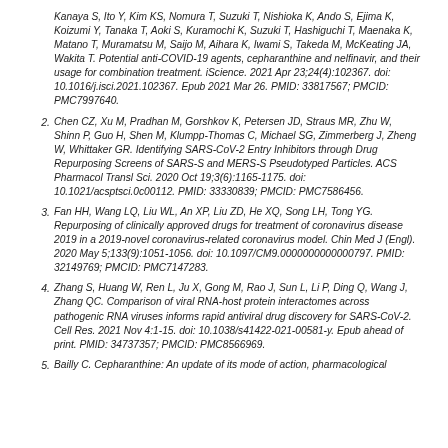Kanaya S, Ito Y, Kim KS, Nomura T, Suzuki T, Nishioka K, Ando S, Ejima K, Koizumi Y, Tanaka T, Aoki S, Kuramochi K, Suzuki T, Hashiguchi T, Maenaka K, Matano T, Muramatsu M, Saijo M, Aihara K, Iwami S, Takeda M, McKeating JA, Wakita T. Potential anti-COVID-19 agents, cepharanthine and nelfinavir, and their usage for combination treatment. iScience. 2021 Apr 23;24(4):102367. doi: 10.1016/j.isci.2021.102367. Epub 2021 Mar 26. PMID: 33817567; PMCID: PMC7997640.
2. Chen CZ, Xu M, Pradhan M, Gorshkov K, Petersen JD, Straus MR, Zhu W, Shinn P, Guo H, Shen M, Klumpp-Thomas C, Michael SG, Zimmerberg J, Zheng W, Whittaker GR. Identifying SARS-CoV-2 Entry Inhibitors through Drug Repurposing Screens of SARS-S and MERS-S Pseudotyped Particles. ACS Pharmacol Transl Sci. 2020 Oct 19;3(6):1165-1175. doi: 10.1021/acsptsci.0c00112. PMID: 33330839; PMCID: PMC7586456.
3. Fan HH, Wang LQ, Liu WL, An XP, Liu ZD, He XQ, Song LH, Tong YG. Repurposing of clinically approved drugs for treatment of coronavirus disease 2019 in a 2019-novel coronavirus-related coronavirus model. Chin Med J (Engl). 2020 May 5;133(9):1051-1056. doi: 10.1097/CM9.0000000000000797. PMID: 32149769; PMCID: PMC7147283.
4. Zhang S, Huang W, Ren L, Ju X, Gong M, Rao J, Sun L, Li P, Ding Q, Wang J, Zhang QC. Comparison of viral RNA-host protein interactomes across pathogenic RNA viruses informs rapid antiviral drug discovery for SARS-CoV-2. Cell Res. 2021 Nov 4:1-15. doi: 10.1038/s41422-021-00581-y. Epub ahead of print. PMID: 34737357; PMCID: PMC8566969.
5. Bailly C. Cepharanthine: An update of its mode of action, pharmacological